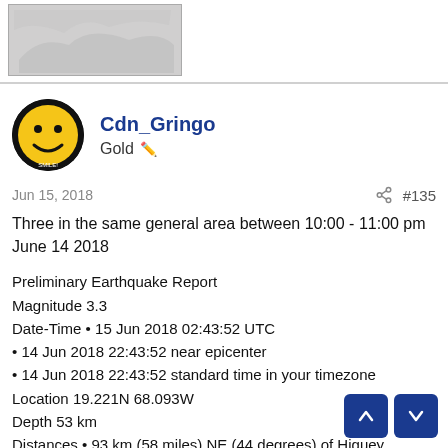[Figure (map): Small greyscale map thumbnail showing a geographic region]
Cdn_Gringo
Gold
Jun 15, 2018   #135
Three in the same general area between 10:00 - 11:00 pm June 14 2018
Preliminary Earthquake Report
Magnitude 3.3
Date-Time • 15 Jun 2018 02:43:52 UTC
• 14 Jun 2018 22:43:52 near epicenter
• 14 Jun 2018 22:43:52 standard time in your timezone
Location 19.221N 68.093W
Depth 53 km
Distances • 93 km (58 miles) NE (44 degrees) of Higuey, Altagracia, Dominican Republic